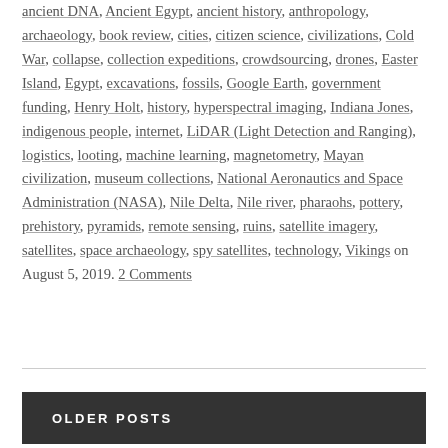ancient DNA, Ancient Egypt, ancient history, anthropology, archaeology, book review, cities, citizen science, civilizations, Cold War, collapse, collection expeditions, crowdsourcing, drones, Easter Island, Egypt, excavations, fossils, Google Earth, government funding, Henry Holt, history, hyperspectral imaging, Indiana Jones, indigenous people, internet, LiDAR (Light Detection and Ranging), logistics, looting, machine learning, magnetometry, Mayan civilization, museum collections, National Aeronautics and Space Administration (NASA), Nile Delta, Nile river, pharaohs, pottery, prehistory, pyramids, remote sensing, ruins, satellite imagery, satellites, space archaeology, spy satellites, technology, Vikings on August 5, 2019. 2 Comments
OLDER POSTS